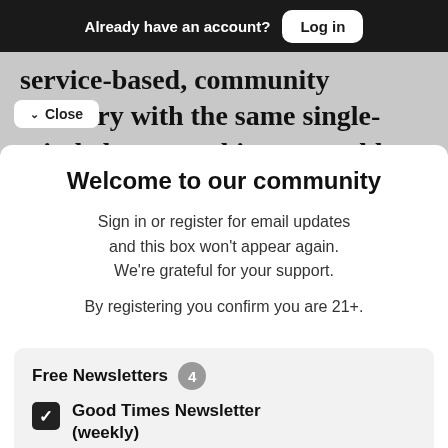Already have an account? Log in
service-based, community recovery with the same single-minded purpose his son would to reach the NFL. Over the past 11
Close
Welcome to our community
Sign in or register for email updates and this box won't appear again. We're grateful for your support.
By registering you confirm you are 21+.
Free Newsletters 4
Good Times Newsletter (weekly)
News stories, arts and dining